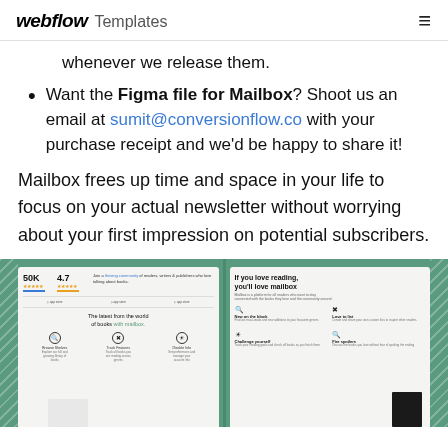webflow Templates
whenever we release them.
Want the Figma file for Mailbox? Shoot us an email at sumit@conversionflow.co with your purchase receipt and we'd be happy to share it!
Mailbox frees up time and space in your life to focus on your actual newsletter without worrying about your first impression on potential subscribers.
[Figure (screenshot): Two screenshots of the Mailbox website template showing stats (50K subscribers, 4.7 rating), community tagline, latest books section with icons, and 'If you love reading, you'll love mailbox' section with feature grid.]